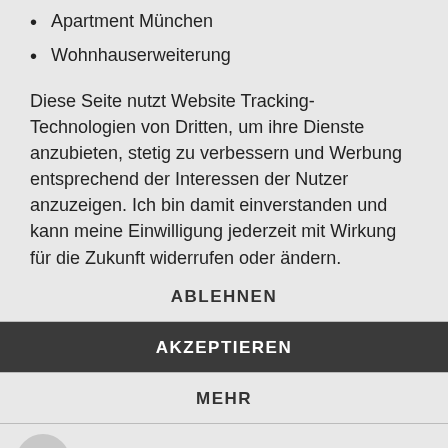Apartment München
Wohnhauserweiterung
Diese Seite nutzt Website Tracking-Technologien von Dritten, um ihre Dienste anzubieten, stetig zu verbessern und Werbung entsprechend der Interessen der Nutzer anzuzeigen. Ich bin damit einverstanden und kann meine Einwilligung jederzeit mit Wirkung für die Zukunft widerrufen oder ändern.
ABLEHNEN
AKZEPTIEREN
MEHR
Powered by usercentrics & eRecht24